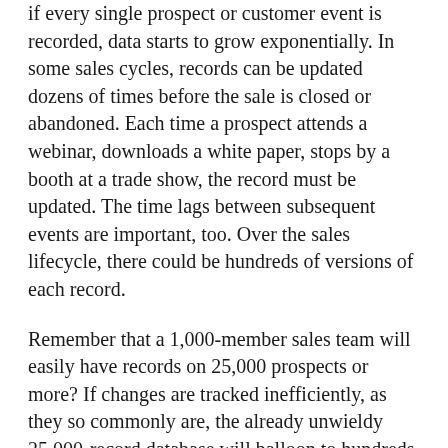if every single prospect or customer event is recorded, data starts to grow exponentially. In some sales cycles, records can be updated dozens of times before the sale is closed or abandoned. Each time a prospect attends a webinar, downloads a white paper, stops by a booth at a trade show, the record must be updated. The time lags between subsequent events are important, too. Over the sales lifecycle, there could be hundreds of versions of each record.
Remember that a 1,000-member sales team will easily have records on 25,000 prospects or more? If changes are tracked inefficiently, as they so commonly are, the already unwieldy 25,000-record database will balloon to hundreds of thousands or even millions of records.
Is the possibility of finding obscure sales patterns enough to justify the storage, management and maintenance of such enormous amounts of data?